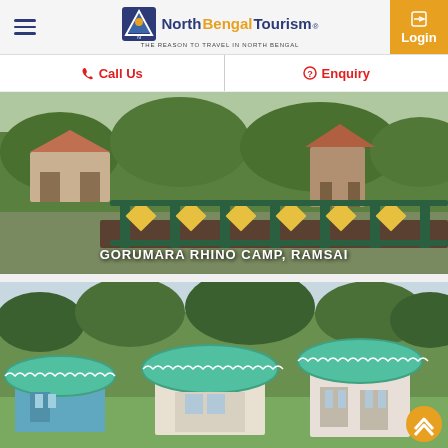North Bengal Tourism - THE REASON TO TRAVEL IN NORTH BENGAL
Call Us | Enquiry
[Figure (photo): A wooden bridge with green and yellow railings leading through a nature resort with stilt houses and lush greenery. Text overlay: GORUMARA RHINO CAMP, RAMSAI]
GORUMARA RHINO CAMP, RAMSAI
[Figure (photo): Colorful huts/cottages with green scalloped roofs in blue and red colors set in a green landscape with trees in the background.]